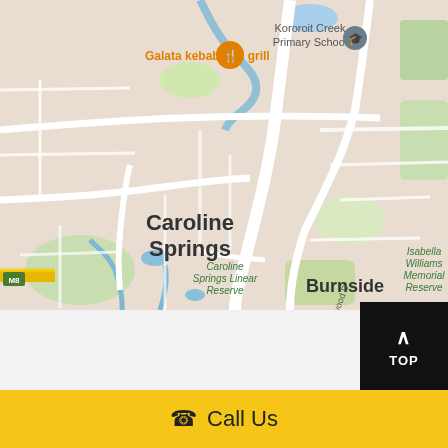[Figure (map): Google Maps screenshot showing Caroline Springs suburb area in Melbourne, Australia. Shows streets, green parks (Caroline Springs Linear Reserve), blue waterways, Kororoit Creek Primary School label, Galata kebab and grill marker in orange, Burnside suburb label, Isabella Williams Memorial Reserve, M8 motorway, and Westwood Dr label.]
Welcome to Blue Hippo Laundromat Caroline Spri
TOP
Call Us